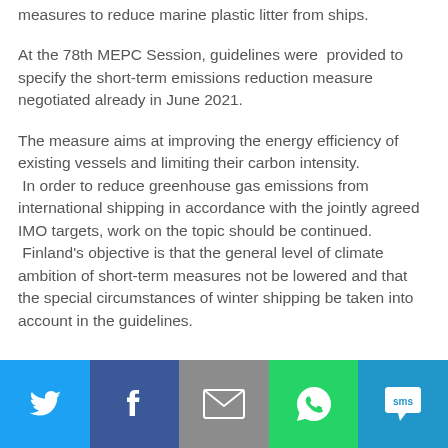measures to reduce marine plastic litter from ships.
At the 78th MEPC Session, guidelines were provided to specify the short-term emissions reduction measure negotiated already in June 2021.
The measure aims at improving the energy efficiency of existing vessels and limiting their carbon intensity. In order to reduce greenhouse gas emissions from international shipping in accordance with the jointly agreed IMO targets, work on the topic should be continued. Finland's objective is that the general level of climate ambition of short-term measures not be lowered and that the special circumstances of winter shipping be taken into account in the guidelines.
[Figure (infographic): Social sharing bar with icons for Twitter, Facebook, Email, WhatsApp, and SMS]